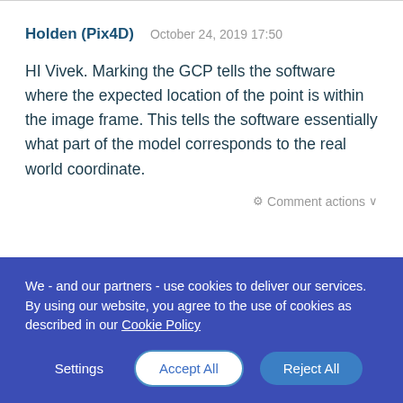Holden (Pix4D)   October 24, 2019 17:50
HI Vivek. Marking the GCP tells the software where the expected location of the point is within the image frame. This tells the software essentially what part of the model corresponds to the real world coordinate.
Comment actions
nnadiah isa   March 11, 2020 07:30
We - and our partners - use cookies to deliver our services. By using our website, you agree to the use of cookies as described in our Cookie Policy
Settings   Accept All   Reject All